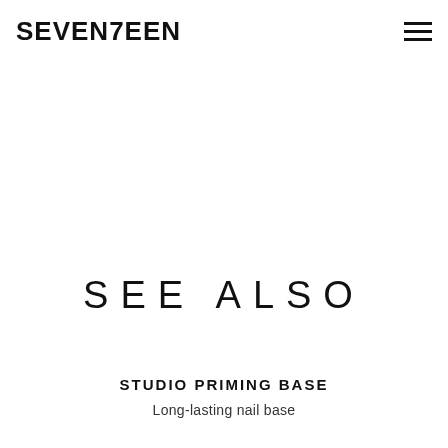SEVEN7EEN
SEE ALSO
STUDIO PRIMING BASE
Long-lasting nail base